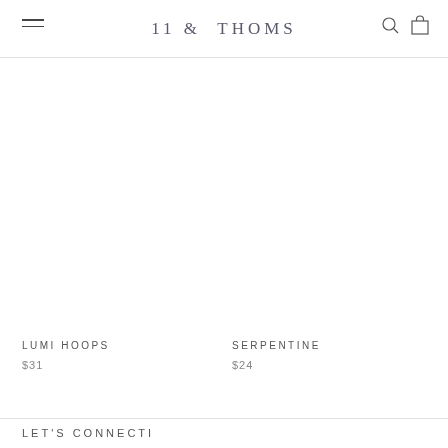11 & THOMS
LUMI HOOPS
$31
SERPENTINE
$24
LET'S CONNECTI